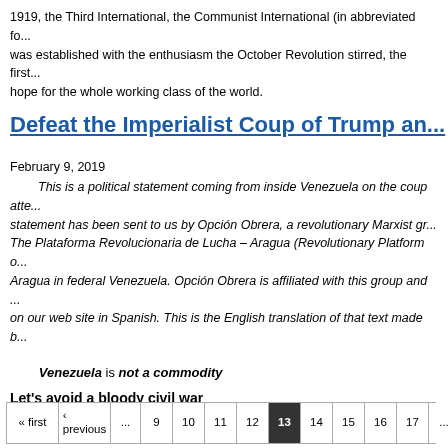1919, the Third International, the Communist International (in abbreviated fo... was established with the enthusiasm the October Revolution stirred, the first... hope for the whole working class of the world.
Defeat the Imperialist Coup of Trump an...
February 9, 2019
This is a political statement coming from inside Venezuela on the coup atte... statement has been sent to us by Opción Obrera, a revolutionary Marxist gr... The Plataforma Revolucionaria de Lucha – Aragua (Revolutionary Platform o... Aragua in federal Venezuela. Opción Obrera is affiliated with this group and ... on our web site in Spanish. This is the English translation of that text made b...
Venezuela is not a commodity
Let's avoid a bloody civil war
« first  ‹ previous  ...  9  10  11  12  13  14  15  16  17  ...